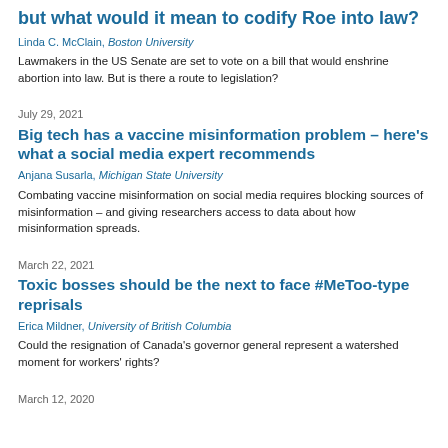but what would it mean to codify Roe into law?
Linda C. McClain, Boston University
Lawmakers in the US Senate are set to vote on a bill that would enshrine abortion into law. But is there a route to legislation?
July 29, 2021
Big tech has a vaccine misinformation problem – here's what a social media expert recommends
Anjana Susarla, Michigan State University
Combating vaccine misinformation on social media requires blocking sources of misinformation – and giving researchers access to data about how misinformation spreads.
March 22, 2021
Toxic bosses should be the next to face #MeToo-type reprisals
Erica Mildner, University of British Columbia
Could the resignation of Canada's governor general represent a watershed moment for workers' rights?
March 12, 2020